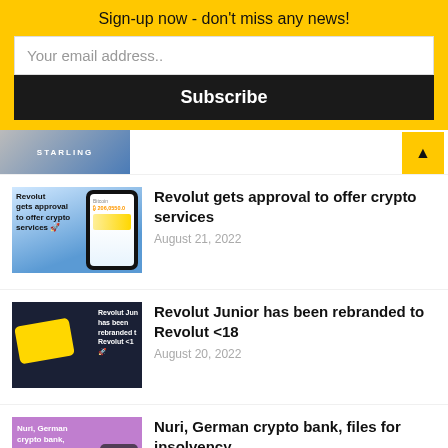Sign-up now - don't miss any news!
Your email address..
Subscribe
[Figure (screenshot): Partial thumbnail of Starling Bank article with scroll-to-top button]
[Figure (screenshot): Revolut gets approval to offer crypto services thumbnail showing phone with crypto app]
Revolut gets approval to offer crypto services
August 21, 2022
[Figure (screenshot): Revolut Junior rebranded to Revolut <18 thumbnail showing yellow card on dark background]
Revolut Junior has been rebranded to Revolut <18
August 20, 2022
[Figure (screenshot): Nuri German crypto bank files for insolvency thumbnail with purple background]
Nuri, German crypto bank, files for insolvency
August 16, 2022